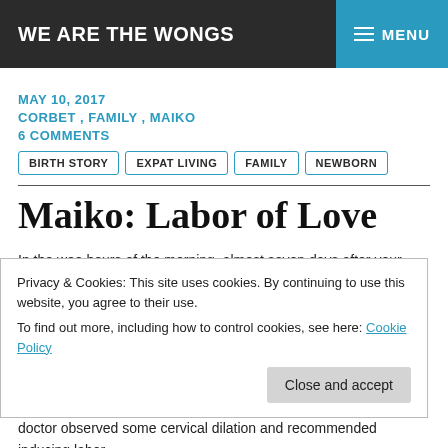WE ARE THE WONGS  MENU
MAY 10, 2017
CORBET, FAMILY, MAIKO
6 COMMENTS
BIRTH STORY  EXPAT LIVING  FAMILY  NEWBORN
Maiko: Labor of Love
In the wee hours of the morning, almost seven days after your birth, I sit at our dining table watching you sleep in the swing.  We had to leave our bedroom so mom could get some much needed rest.  Two years ago, I
Privacy & Cookies: This site uses cookies. By continuing to use this website, you agree to their use.
To find out more, including how to control cookies, see here: Cookie Policy
Close and accept
doctor observed some cervical dilation and recommended inducing labor